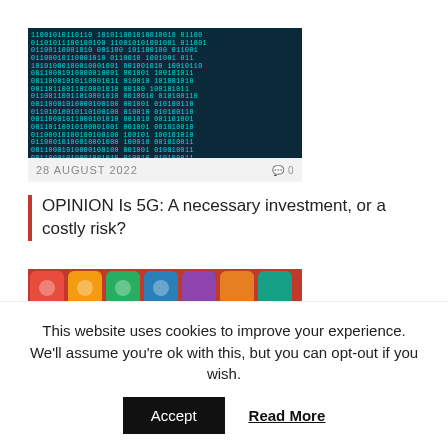[Figure (photo): Dark teal background with scrolling binary code (0s and 1s) in cyan/green text, resembling a digital matrix display]
28 AUGUST 2022   💬 0
OPINION Is 5G: A necessary investment, or a costly risk?
[Figure (photo): A pile of colorful 3D app icon cubes with various social media and app logos in bright colors including red, orange, green, blue, and purple]
This website uses cookies to improve your experience. We'll assume you're ok with this, but you can opt-out if you wish.
Accept   Read More